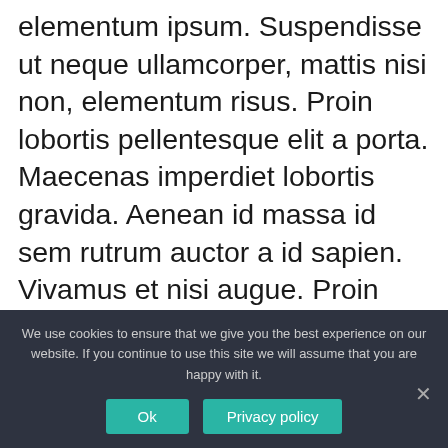elementum ipsum. Suspendisse ut neque ullamcorper, mattis nisi non, elementum risus. Proin lobortis pellentesque elit a porta. Maecenas imperdiet lobortis gravida. Aenean id massa id sem rutrum auctor a id sapien. Vivamus et nisi augue. Proin aliquam tincidunt imperdiet. Donec pharetra purus lacus, malesuada dictum eros tempor id. Morbi nulla mi, rhoncus id lacus ut, consectetur sollicitudin libero.
We use cookies to ensure that we give you the best experience on our website. If you continue to use this site we will assume that you are happy with it.